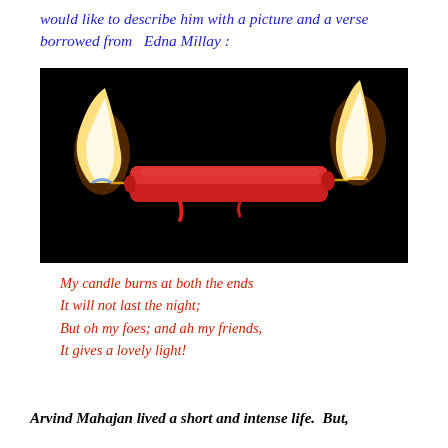would like to describe him with a picture and a verse borrowed from  Edna Millay :
[Figure (photo): A red candle burning at both ends against a black background, with flames visible at each end of the horizontal candle.]
My candle burns at both the ends
It will not last the night;
But oh my foes; and ah my friends,
It gives a lovely light!
Arvind Mahajan lived a short and intense life.  But,